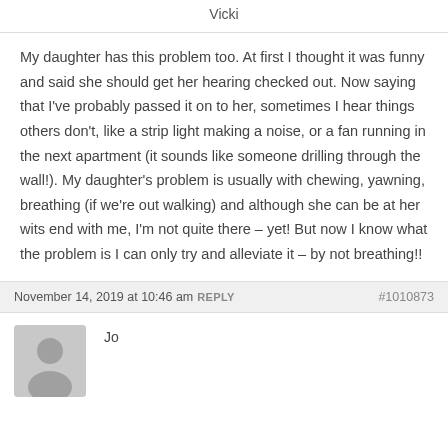Vicki
My daughter has this problem too. At first I thought it was funny and said she should get her hearing checked out. Now saying that I've probably passed it on to her, sometimes I hear things others don't, like a strip light making a noise, or a fan running in the next apartment (it sounds like someone drilling through the wall!). My daughter's problem is usually with chewing, yawning, breathing (if we're out walking) and although she can be at her wits end with me, I'm not quite there – yet! But now I know what the problem is I can only try and alleviate it – by not breathing!!
November 14, 2019 at 10:46 am REPLY #1010873
Jo